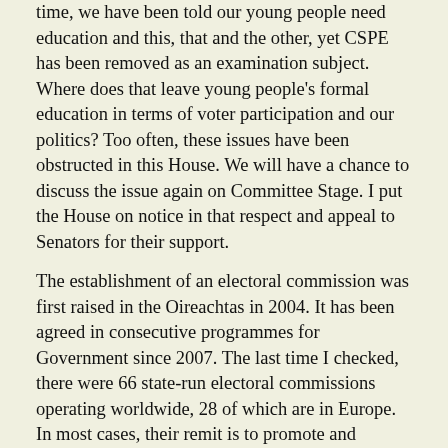time, we have been told our young people need education and this, that and the other, yet CSPE has been removed as an examination subject. Where does that leave young people's formal education in terms of voter participation and our politics? Too often, these issues have been obstructed in this House. We will have a chance to discuss the issue again on Committee Stage. I put the House on notice in that respect and appeal to Senators for their support.
The establishment of an electoral commission was first raised in the Oireachtas in 2004. It has been agreed in consecutive programmes for Government since 2007. The last time I checked, there were 66 state-run electoral commissions operating worldwide, 28 of which are in Europe. In most cases, their remit is to promote and encourage participation and voting, oversee voter registration processes and collate electoral data. Currently, these responsibilities lie with the local authorities and the Department of Housing, Local Government and Heritage.
I, too, join Senator Boyhan in expressing some concern that we do not have a standardised registration process across local authorities. While I hate to see power removed from local authorities, we need a standardised system.
I raise the disquiet expressed by NGOs regarding political advocacy. They are concerned that the definition of "political purposes" is too restrictive. While we should have robust rules to ensure there are no external influences, we cannot limit the ability of NGOs. We need to find